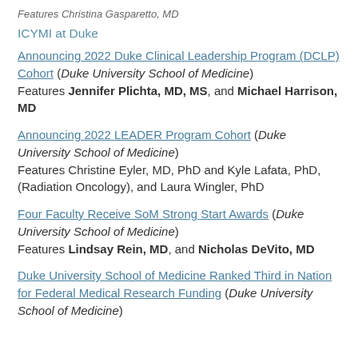Features Christina Gasparetto, MD
ICYMI at Duke
Announcing 2022 Duke Clinical Leadership Program (DCLP) Cohort (Duke University School of Medicine) Features Jennifer Plichta, MD, MS, and Michael Harrison, MD
Announcing 2022 LEADER Program Cohort (Duke University School of Medicine) Features Christine Eyler, MD, PhD and Kyle Lafata, PhD, (Radiation Oncology), and Laura Wingler, PhD
Four Faculty Receive SoM Strong Start Awards (Duke University School of Medicine) Features Lindsay Rein, MD, and Nicholas DeVito, MD
Duke University School of Medicine Ranked Third in Nation for Federal Medical Research Funding (Duke University School of Medicine)